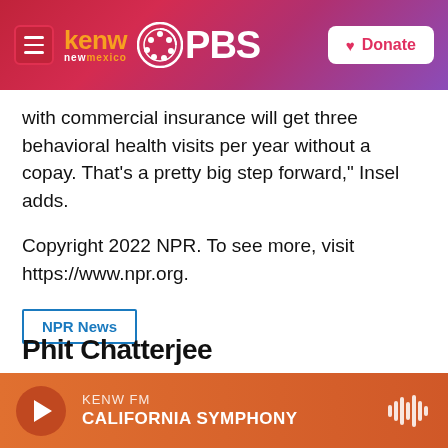KENW New Mexico PBS — Donate
with commercial insurance will get three behavioral health visits per year without a copay. That's a pretty big step forward," Insel adds.
Copyright 2022 NPR. To see more, visit https://www.npr.org.
NPR News
[Figure (other): Social sharing buttons: Facebook, Twitter, LinkedIn, Email]
Phit Chatterjee (partial, cut off at bottom)
KENW FM — CALIFORNIA SYMPHONY (audio player bar)